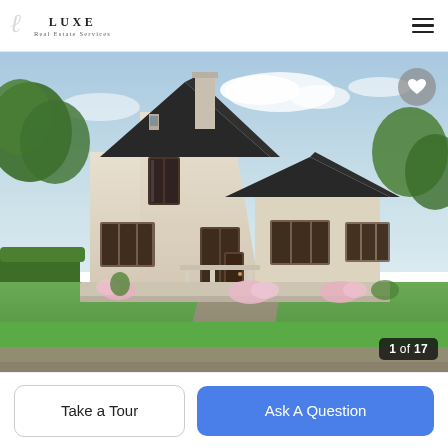LUXE Real Estate Services
[Figure (photo): Exterior rendering of a luxury white brick home with dark roof, two-story design, dormer windows, shutters, chimney, covered porch, and landscaped front yard with flowers and trees.]
1 of 17
Take a Tour
Ask A Question